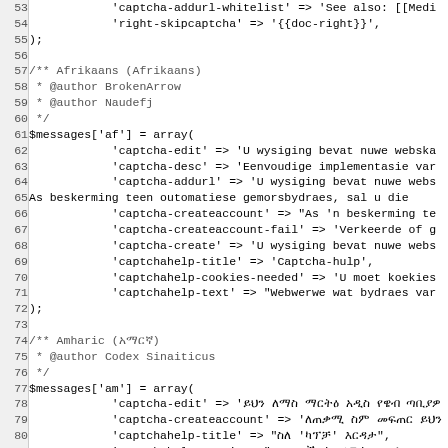[Figure (screenshot): Source code listing showing PHP array definitions for captcha messages in multiple languages (Afrikaans and Amharic), with line numbers 53-85 visible.]